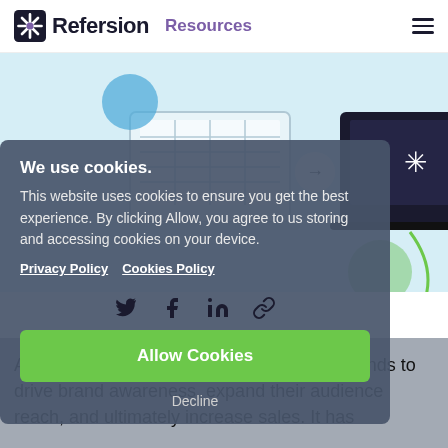Refersion Resources
[Figure (illustration): Two laptops connected by an arrow, one showing a spreadsheet, one showing the Refersion snowflake logo, on a light blue background illustrating data transfer]
We use cookies.
This website uses cookies to ensure you get the best experience. By clicking Allow, you agree to us storing and accessing cookies on your device.
Privacy Policy   Cookies Policy
Allow Cookies
Decline
Affiliate marketing is an excellent tool for brands to drive brand awareness, expand their audience reach, and ultimately increase sales. It has